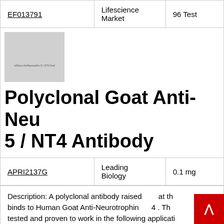| Catalog # | Supplier | Size |
| --- | --- | --- |
| EF013791 | Lifescience Market | 96 Test |
[Figure (photo): Product thumbnail image for Polyclonal Goat Anti-Neurotrophin 5 / NT4 Antibody, gray placeholder with small text label]
Polyclonal Goat Anti-Neurotrophin 5 / NT4 Antibody
| Catalog # | Supplier | Size |
| --- | --- | --- |
| APRI2137G | Leading Biology | 0.1 mg |
Description: A polyclonal antibody raised at the binds to Human Goat Anti-Neurotrophin 4 . Th tested and proven to work in the following applicati